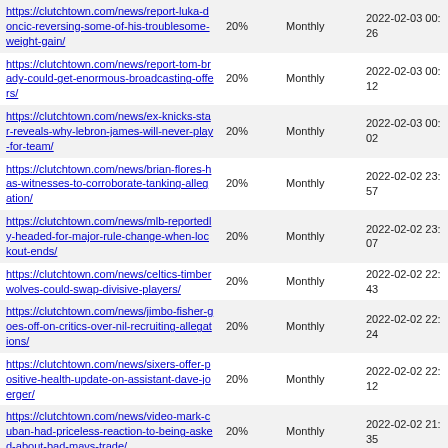| URL | Priority | Change Frequency | Last Modified |
| --- | --- | --- | --- |
| https://clutchtown.com/news/report-luka-doncic-reversing-some-of-his-troublesome-weight-gain/ | 20% | Monthly | 2022-02-03 00:26 |
| https://clutchtown.com/news/report-tom-brady-could-get-enormous-broadcasting-offers/ | 20% | Monthly | 2022-02-03 00:12 |
| https://clutchtown.com/news/ex-knicks-star-reveals-why-lebron-james-will-never-play-for-team/ | 20% | Monthly | 2022-02-03 00:02 |
| https://clutchtown.com/news/brian-flores-has-witnesses-to-corroborate-tanking-allegation/ | 20% | Monthly | 2022-02-02 23:57 |
| https://clutchtown.com/news/mlb-reportedly-headed-for-major-rule-change-when-lockout-ends/ | 20% | Monthly | 2022-02-02 23:07 |
| https://clutchtown.com/news/celtics-timberwolves-could-swap-divisive-players/ | 20% | Monthly | 2022-02-02 22:43 |
| https://clutchtown.com/news/jimbo-fisher-goes-off-on-critics-over-nil-recruiting-allegations/ | 20% | Monthly | 2022-02-02 22:24 |
| https://clutchtown.com/news/sixers-offer-positive-health-update-on-assistant-dave-joerger/ | 20% | Monthly | 2022-02-02 22:12 |
| https://clutchtown.com/news/video-mark-cuban-had-priceless-reaction-to-being-asked-about-bad-mavs-trade/ | 20% | Monthly | 2022-02-02 21:35 |
| https://clutchtown.com/news/browns-respond-to-troubling-allegation-from-hue-jackson/ | 20% | Monthly | 2022-02-02 21:24 |
| https://clutchtown.com/news/john-harbaugh-endorses-vikings-pursuit-of-brother-jim/ | 20% | Monthly | 2022-02-02 21:15 |
| https://clutchtown.com/news/lakers-looking-to-sign-one-of-lebron-james-old-eastern-conference-rivals/ | 20% | Monthly | 2022-02-02 20:25 |